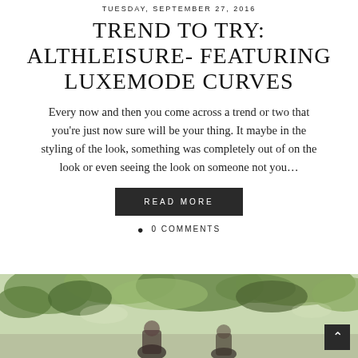TUESDAY, SEPTEMBER 27, 2016
TREND TO TRY: ALTHLEISURE- FEATURING LUXEMODE CURVES
Every now and then you come across a trend or two that you're just now sure will be your thing. It maybe in the styling of the look, something was completely out of on the look or even seeing the look on someone not you…
READ MORE
0 COMMENTS
[Figure (photo): Outdoor photo showing trees with green foliage and figures partially visible at the bottom, with a dark back-to-top arrow button in the lower right corner.]